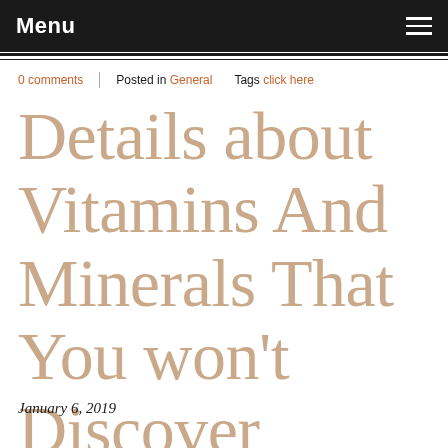Menu
0 comments | Posted in General   Tags click here
Details about Vitamins And Minerals That You won't Discover Elsewhere
January 6, 2019